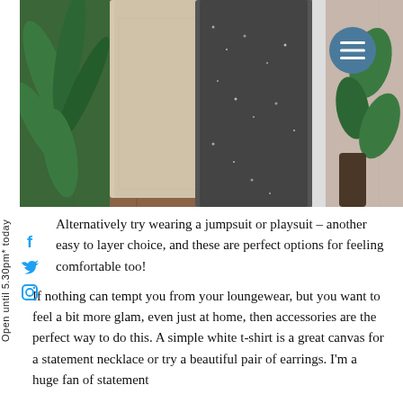[Figure (photo): Two dresses hanging on a wooden wardrobe/rack — one cream/beige and one dark grey/black patterned — with green plants visible on either side and a menu button (hamburger icon) in a teal circle in the top right.]
Open until 5.30pm* today
Alternatively try wearing a jumpsuit or playsuit – another easy to layer choice, and these are perfect options for feeling comfortable too!
If nothing can tempt you from your loungewear, but you want to feel a bit more glam, even just at home, then accessories are the perfect way to do this. A simple white t-shirt is a great canvas for a statement necklace or try a beautiful pair of earrings. I'm a huge fan of statement